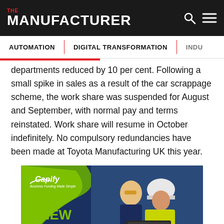THE MANUFACTURER
AUTOMATION | DIGITAL TRANSFORMATION | INDU…
departments reduced by 10 per cent. Following a small spike in sales as a result of the car scrappage scheme, the work share was suspended for August and September, with normal pay and terms reinstated. Work share will resume in October indefinitely. No compulsory redundancies have been made at Toyota Manufacturing UK this year.
[Figure (photo): Advertisement for Capify showing two manufacturing workers in safety gear looking at a laptop, with text 'A NEW £40M FUND TO SUPPORT' and Capify logo with tagline 'Business Funding Made Simple']